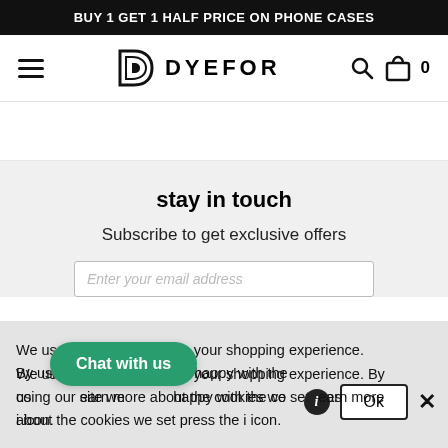BUY 1 GET 1 HALF PRICE ON PHONE CASES
[Figure (logo): Dyefor logo with stylized D icon and DYEFOR wordmark, plus hamburger menu, search icon, and cart icon in navigation bar]
stay in touch
Subscribe to get exclusive offers
We use cookies to improve your shopping experience. By using our site we are happy with the cookies we set. To learn more about the cookies we set press the i icon.
Chat with us